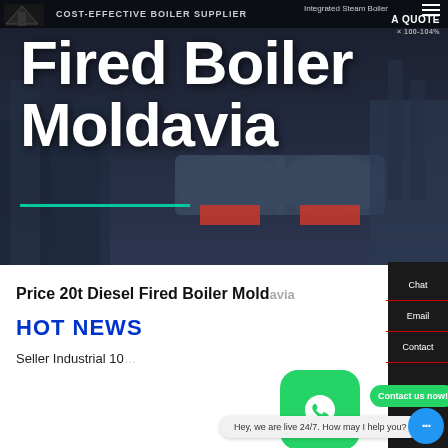[Figure (screenshot): Website hero banner showing industrial boilers in background with overlaid large white text 'Fired Boiler Moldavia', a top navigation bar with 'COST-EFFECTIVE BOILER SUPPLIER' and 'GET A QUOTE' button, and a teal underline accent]
Fired Boiler Moldavia
Price 20t Diesel Fired Boiler Moldavia
HOT NEWS
Seller Industrial 10...
Chat
Email
Contact
Hey, we are live 24/7. How may I help you?
Contact us now!